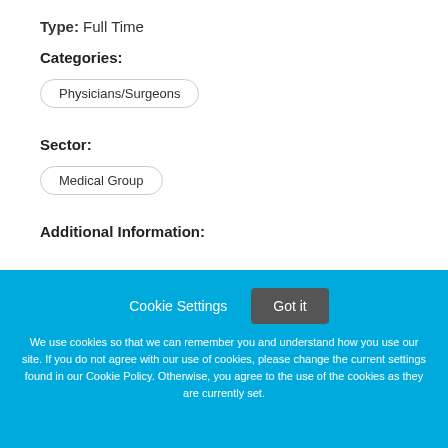Type: Full Time
Categories:
Physicians/Surgeons
Sector:
Medical Group
Additional Information:
Cookie Settings  Got it  We use cookies so that we can remember you and understand how you use our site. If you do not agree with our use of cookies, please change the current settings found in our Cookie Policy. Otherwise, you agree to the use of the cookies as they are currently set.